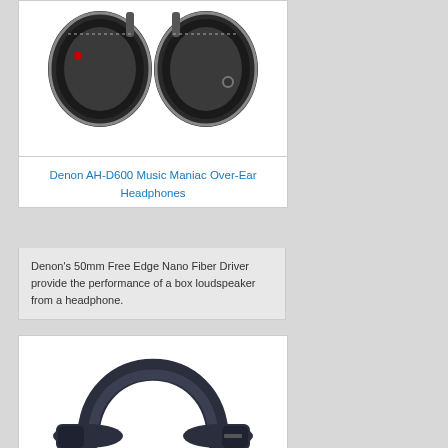[Figure (photo): Denon AH-D600 over-ear headphones shown from above, black with silver accents, red dot visible on left ear cup]
Denon AH-D600 Music Maniac Over-Ear Headphones
Denon's 50mm Free Edge Nano Fiber Driver provide the performance of a box loudspeaker from a headphone.
[Figure (photo): Dark navy/black over-ear headphones shown from the side, minimalist design with padded headband arc visible]